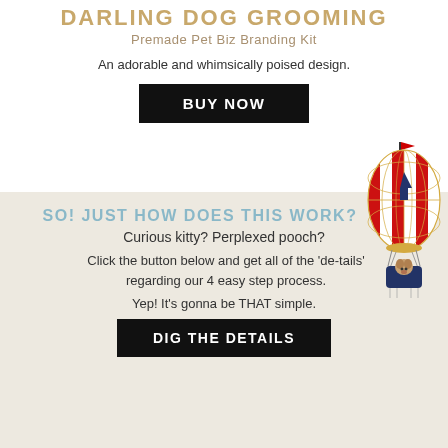DARLING DOG GROOMING
Premade Pet Biz Branding Kit
An adorable and whimsically poised design.
BUY NOW
SO! JUST HOW DOES THIS WORK?
Curious kitty? Perplexed pooch?
Click the button below and get all of the ‘de-tails’ regarding our 4 easy step process.
Yep! It’s gonna be THAT simple.
DIG THE DETAILS
[Figure (illustration): A decorative hot air balloon illustration with red and white stripes, gold netting, a small flag on top, and a basket with a dog inside. The balloon has a blue arrow pointing upward on its surface.]